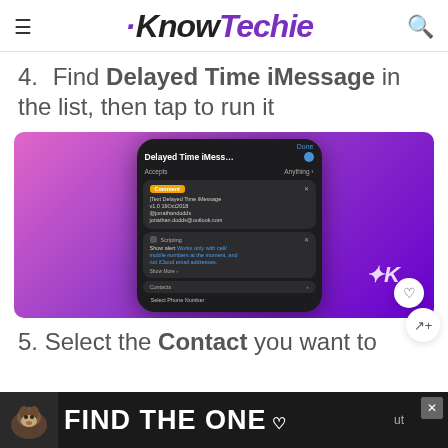KnowTechie
4. Find Delayed Time iMessage in the list, then tap to run it
[Figure (screenshot): Screenshot of iPhone Shortcuts app showing 'Delayed Time iMess...' shortcut detail with action cards including scripting steps and a Show alert about mobile numbers only.]
5. Select the Contact you want to